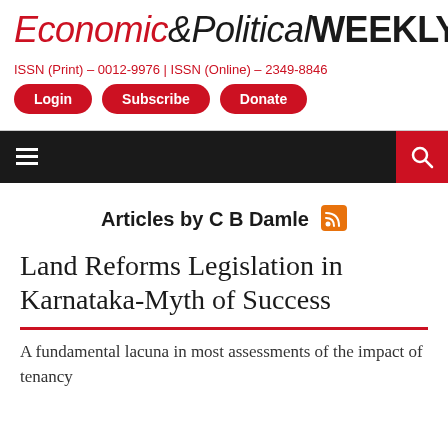Economic&Political WEEKLY
ISSN (Print) - 0012-9976 | ISSN (Online) - 2349-8846
Login
Subscribe
Donate
Articles by C B Damle
Land Reforms Legislation in Karnataka-Myth of Success
A fundamental lacuna in most assessments of the impact of tenancy